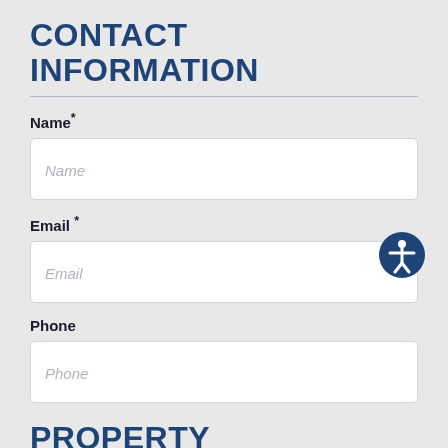CONTACT INFORMATION
Name*
Name
Email *
[Figure (illustration): Accessibility icon — dark blue circle with white human figure with arms outstretched]
Email
Phone
Phone
PROPERTY